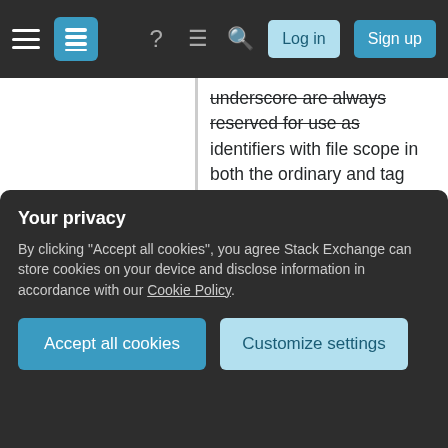Stack Exchange navigation bar with hamburger menu, logo, help, chat, search icons, Log in and Sign up buttons
underscore are always reserved for use as identifiers with file scope in both the ordinary and tag name spaces.
— Each macro name in any of the following subclauses (including the future library directions) is reserved for use as specified if any of its associated headers is included; unless explicitly stated otherwise (see 7.1.4).
— All identifiers with external linkage in any
[Figure (screenshot): Cookie consent privacy overlay popup with dark background. Title: 'Your privacy'. Body: 'By clicking "Accept all cookies", you agree Stack Exchange can store cookies on your device and disclose information in accordance with our Cookie Policy.' Two buttons: 'Accept all cookies' (blue) and 'Customize settings' (light blue).]
any of the following subclauses (including